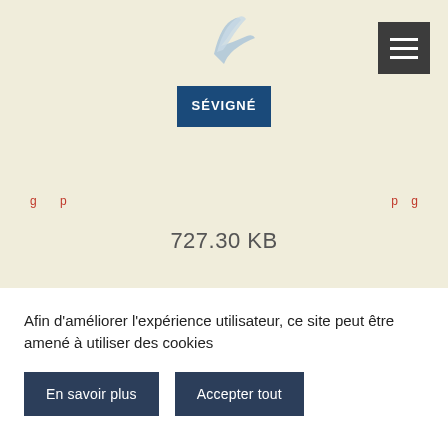[Figure (logo): Sévigné logo with seagull illustration above a blue rectangle with white text 'SÉVIGNÉ']
[Figure (other): Hamburger menu button (dark grey square with three horizontal white lines)]
727.30 KB
Afin d'améliorer l'expérience utilisateur, ce site peut être amené à utiliser des cookies
En savoir plus
Accepter tout